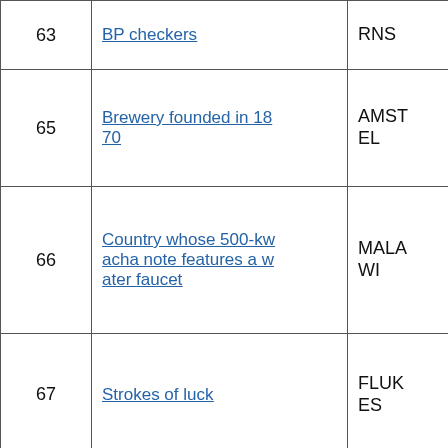| # | Clue | Answer |
| --- | --- | --- |
| 63 | BP checkers | RNS |
| 65 | Brewery founded in 1870 | AMSTEL |
| 66 | Country whose 500-kwacha note features a water faucet | MALAWI |
| 67 | Strokes of luck | FLUKES |
| 69 | Crazy Horse, e.g. | CHIE |